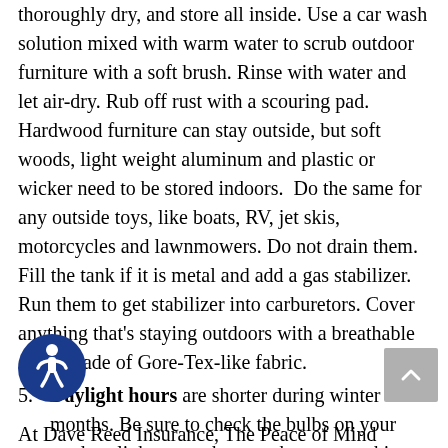thoroughly dry, and store all inside. Use a car wash solution mixed with warm water to scrub outdoor furniture with a soft brush. Rinse with water and let air-dry. Rub off rust with a scouring pad. Hardwood furniture can stay outside, but soft woods, light weight aluminum and plastic or wicker need to be stored indoors.  Do the same for any outside toys, like boats, RV, jet skis, motorcycles and lawnmowers. Do not drain them. Fill the tank if it is metal and add a gas stabilizer. Run them to get stabilizer into carburetors. Cover anything that's staying outdoors with a breathable cover made of Gore-Tex-like fabric.
Daylight hours are shorter during winter months. Be sure to check the bulbs on your outdoor lights to make sure they are working. Using CFL or LED flood lights will provide light and save money on your energy bill. ENERGY STAR makes these lights to withstand snow and rain. Lighting units that have daylight shut-off and motion sensors are also available.
At Dave Reed Insurance, The Peace of Mind People, we love